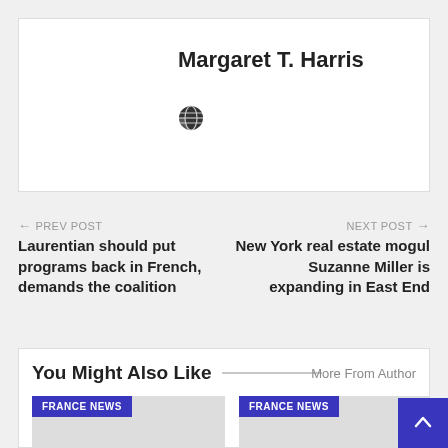[Figure (photo): Author avatar placeholder with grey background showing a white silhouette person icon]
Margaret T. Harris
[Figure (other): Globe/website icon]
← PREV POST
Laurentian should put programs back in French, demands the coalition
NEXT POST →
New York real estate mogul Suzanne Miller is expanding in East End
You Might Also Like
More From Author
FRANCE NEWS
FRANCE NEWS